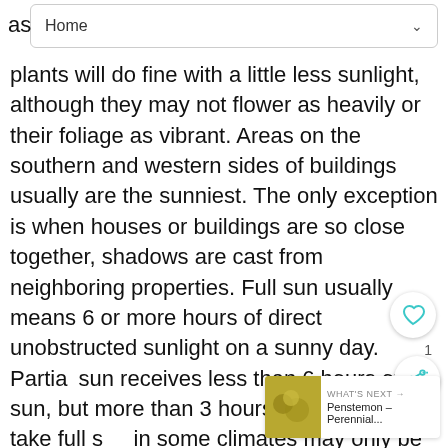Home
plants will do fine with a little less sunlight, although they may not flower as heavily or their foliage as vibrant. Areas on the southern and western sides of buildings usually are the sunniest. The only exception is when houses or buildings are so close together, shadows are cast from neighboring properties. Full sun usually means 6 or more hours of direct unobstructed sunlight on a sunny day. Partial sun receives less than 6 hours of sun, but more than 3 hours. Plants able to take full sun in some climates may only be able to tolerate part sun in other climates. Know the the plant before you buy and plant it!